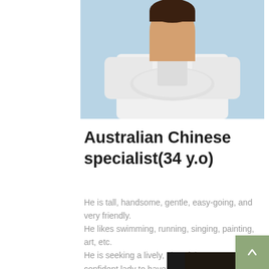[Figure (photo): Photo of a doctor in white coat with arms crossed and stethoscope, light blue background]
Australian Chinese specialist(34 y.o)
He is tall, handsome, gentle, easy-going, and very friendly.
He likes swimming, running, singing, painting, art, etc.
He is seeking a lively, cheerful, smart, and confident lady to have a family together.
[Figure (photo): Top of a man's head with dark hair, partially visible at bottom of page]
[Figure (other): Small green square button with up arrow icon in bottom-right corner]